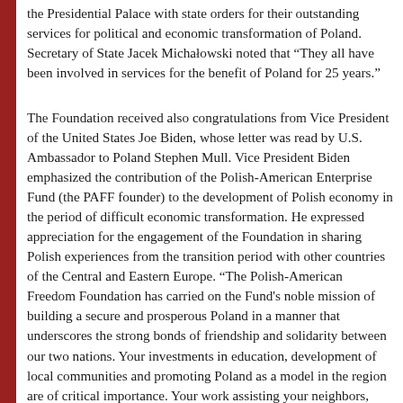the Presidential Palace with state orders for their outstanding services for political and economic transformation of Poland. Secretary of State Jacek Michałowski noted that "They all have been involved in services for the benefit of Poland for 25 years."
The Foundation received also congratulations from Vice President of the United States Joe Biden, whose letter was read by U.S. Ambassador to Poland Stephen Mull. Vice President Biden emphasized the contribution of the Polish-American Enterprise Fund (the PAFF founder) to the development of Polish economy in the period of difficult economic transformation. He expressed appreciation for the engagement of the Foundation in sharing Polish experiences from the transition period with other countries of the Central and Eastern Europe. "The Polish-American Freedom Foundation has carried on the Fund's noble mission of building a secure and prosperous Poland in a manner that underscores the strong bonds of friendship and solidarity between our two nations. Your investments in education, development of local communities and promoting Poland as a model in the region are of critical importance. Your work assisting your neighbors, such as providing education fellowships for young people in Ukraine to study in Poland, is a demonstration of your